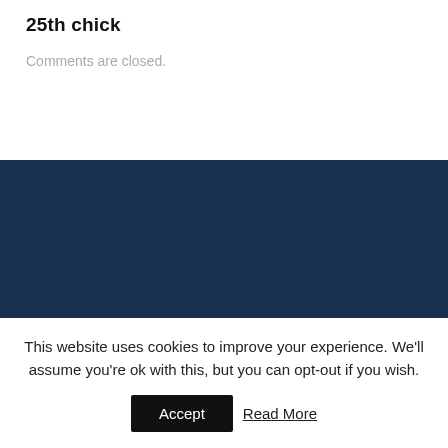25th chick
Comments are closed.
This website uses cookies to improve your experience. We'll assume you're ok with this, but you can opt-out if you wish.